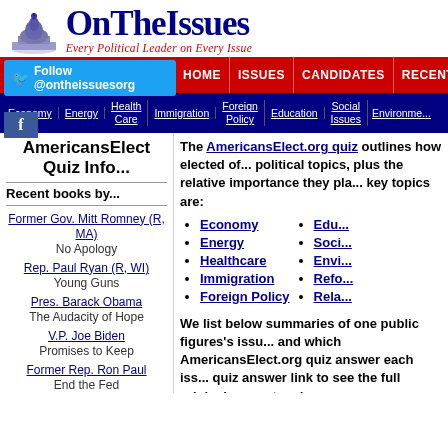[Figure (logo): OnTheIssues logo with capitol dome icon, red subtitle 'Every Political Leader on Every Issue']
HOME | ISSUES | CANDIDATES | RECENT | GRID | A
Economy | Energy | Health Care | Immigration | Foreign Policy | Education | Social Issues | Environment
AmericansElect Quiz Info...
The AmericansElect.org quiz outlines how elected officials stand on key political topics, plus the relative importance they place on each topic. The key topics are:
Economy
Energy
Healthcare
Immigration
Foreign Policy
Education
Social Issues
Environment
Reform
Relationships
Recent books by...
Former Gov. Mitt Romney (R, MA)
No Apology
Rep. Paul Ryan (R, WI)
Young Guns
Pres. Barack Obama
The Audacity of Hope
V.P. Joe Biden
Promises to Keep
Former Rep. Ron Paul
End the Fed
We list below summaries of one public figures's issue positions and which AmericansElect.org quiz answer each issue matches. Click any quiz answer link to see the full original excerpt and context.
[Figure (logo): OnTheIssues logo bottom with capitol dome, partial 'OnTheIssues' text in blue]